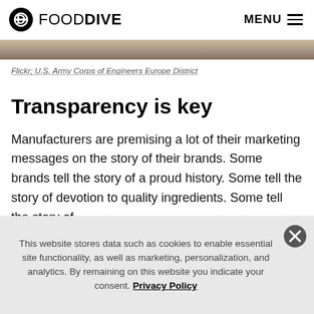FOOD DIVE | MENU
[Figure (photo): Cropped photo strip at top of article]
Flickr; U.S. Army Corps of Engineers Europe District
Transparency is key
Manufacturers are premising a lot of their marketing messages on the story of their brands. Some brands tell the story of a proud history. Some tell the story of devotion to quality ingredients. Some tell the story of
This website stores data such as cookies to enable essential site functionality, as well as marketing, personalization, and analytics. By remaining on this website you indicate your consent. Privacy Policy